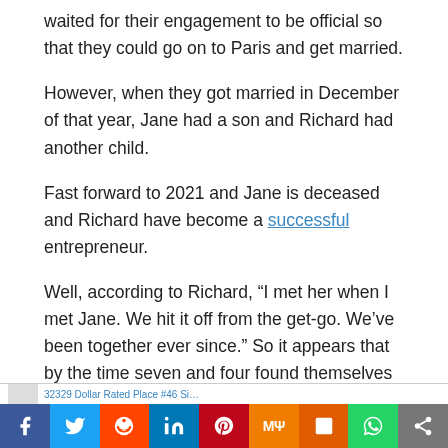waited for their engagement to be official so that they could go on to Paris and get married.
However, when they got married in December of that year, Jane had a son and Richard had another child.
Fast forward to 2021 and Jane is deceased and Richard have become a successful entrepreneur.
Well, according to Richard, “I met her when I met Jane. We hit it off from the get-go. We’ve been together ever since.” So it appears that by the time seven and four found themselves romantically involved with each other, they already had a relationship well in motion.